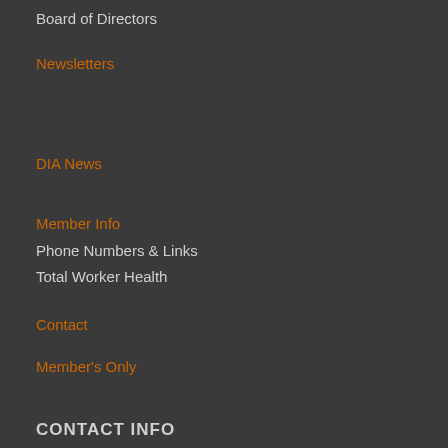Board of Directors
Newsletters
DIA  News
Member Info
Phone Numbers & Links
Total Worker Health
Contact
Member's Only
CONTACT INFO